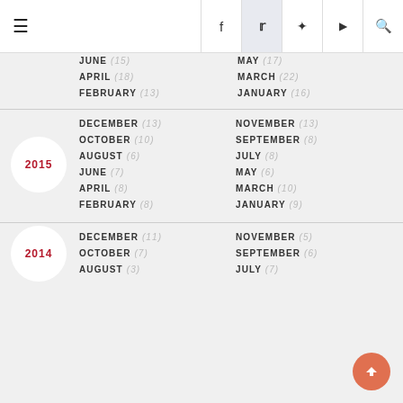Navigation header with hamburger menu and social icons (Facebook, Twitter, Pinterest, YouTube, Search)
JUNE (15)
MAY (17)
APRIL (18)
MARCH (22)
FEBRUARY (13)
JANUARY (16)
2015
DECEMBER (13)
NOVEMBER (13)
OCTOBER (10)
SEPTEMBER (8)
AUGUST (6)
JULY (8)
JUNE (7)
MAY (6)
APRIL (8)
MARCH (10)
FEBRUARY (8)
JANUARY (9)
2014
DECEMBER (11)
NOVEMBER (5)
OCTOBER (7)
SEPTEMBER (6)
AUGUST (3)
JULY (7)